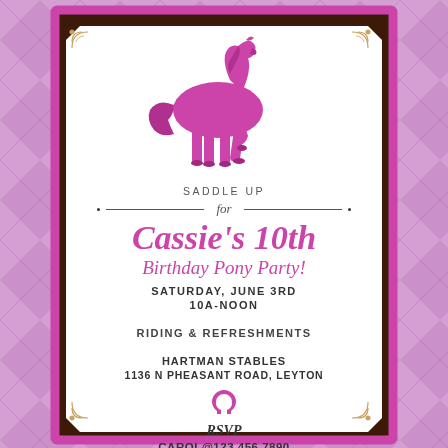[Figure (illustration): Birthday party invitation with pink argyle background, brown glitter frame, white octagonal card with decorative corner swirls, glitter pink horse silhouette, and party details text]
SADDLE UP
for
Cassie's 10th
Birthday Pony Party!
SATURDAY, JUNE 3RD
10A-NOON
RIDING & REFRESHMENTS
HARTMAN STABLES
1136 N PHEASANT ROAD, LEYTON
RSVP
CAROL@123.456.7890